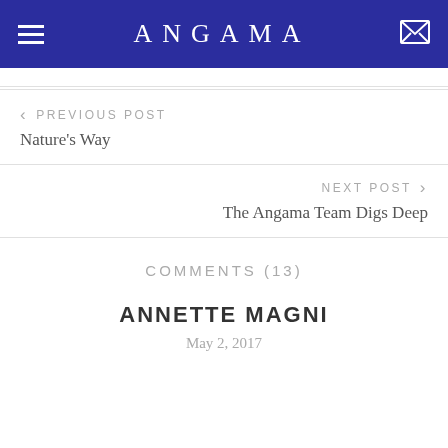ANGAMA
< PREVIOUS POST
Nature's Way
NEXT POST >
The Angama Team Digs Deep
COMMENTS (13)
ANNETTE MAGNI
May 2, 2017